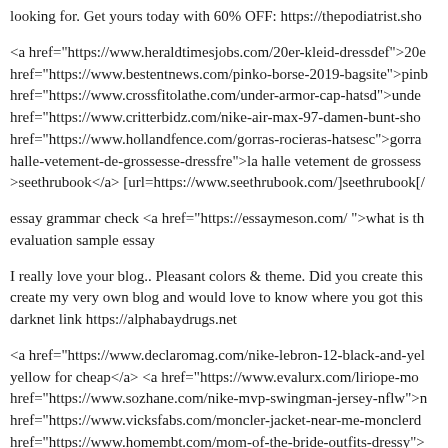looking for. Get yours today with 60% OFF: https://thepodiatrist.sho
<a href="https://www.heraldtimesjobs.com/20er-kleid-dressdef">20e href="https://www.bestentnews.com/pinko-borse-2019-bagsite">pinb href="https://www.crossfitolathe.com/under-armor-cap-hatsd">unde href="https://www.critterbidz.com/nike-air-max-97-damen-bunt-sho href="https://www.hollandfence.com/gorras-rocieras-hatsesc">gorra halle-vetement-de-grossesse-dressfre">la halle vetement de grossess >seethrubook</a> [url=https://www.seethrubook.com/]seethrubook[/
essay grammar check <a href="https://essaymeson.com/ ">what is th evaluation sample essay
I really love your blog.. Pleasant colors & theme. Did you create this create my very own blog and would love to know where you got this darknet link https://alphabaydrugs.net
<a href="https://www.declaromag.com/nike-lebron-12-black-and-yel yellow for cheap</a> <a href="https://www.evalurx.com/liriope-mo href="https://www.sozhane.com/nike-mvp-swingman-jersey-nflw">n href="https://www.vicksfabs.com/moncler-jacket-near-me-monclerd href="https://www.homembt.com/mom-of-the-bride-outfits-dressy"> http://www.homembt.com/
\xd0\x9f\xd1\x80\xd0\xbe\xd0\xbc\xd0\xbe\xd0\xba\xd0\xbe\xd0\xb